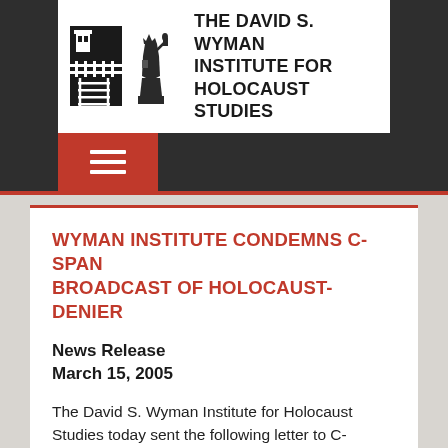[Figure (logo): The David S. Wyman Institute for Holocaust Studies logo with concentration camp gate imagery and Statue of Liberty illustration, black and white]
The David S. Wyman Institute for Holocaust Studies
[Figure (other): Orange hamburger menu button on dark navigation bar]
WYMAN INSTITUTE CONDEMNS C-SPAN BROADCAST OF HOLOCAUST-DENIER
News Release
March 15, 2005
The David S. Wyman Institute for Holocaust Studies today sent the following letter to C-